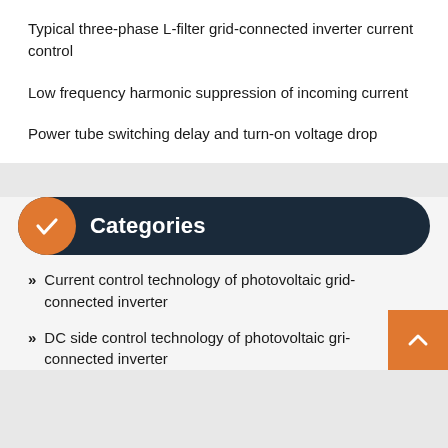Typical three-phase L-filter grid-connected inverter current control
Low frequency harmonic suppression of incoming current
Power tube switching delay and turn-on voltage drop
Categories
Current control technology of photovoltaic grid-connected inverter
DC side control technology of photovoltaic grid-connected inverter